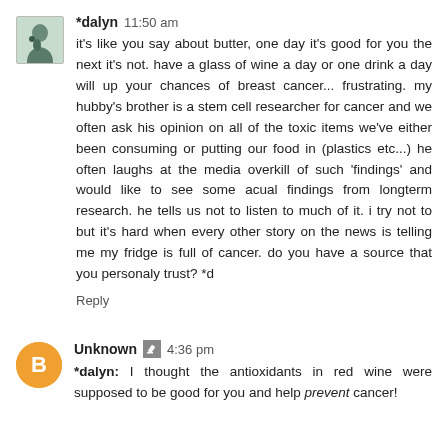*dalyn  11:50 am
it's like you say about butter, one day it's good for you the next it's not. have a glass of wine a day or one drink a day will up your chances of breast cancer... frustrating. my hubby's brother is a stem cell researcher for cancer and we often ask his opinion on all of the toxic items we've either been consuming or putting our food in (plastics etc...) he often laughs at the media overkill of such 'findings' and would like to see some acual findings from longterm research. he tells us not to listen to much of it. i try not to but it's hard when every other story on the news is telling me my fridge is full of cancer. do you have a source that you personaly trust? *d
Reply
Unknown  4:36 pm
*dalyn: I thought the antioxidants in red wine were supposed to be good for you and help prevent cancer!